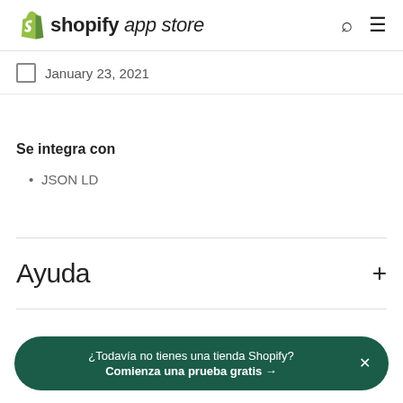shopify app store
January 23, 2021
Se integra con
JSON LD
Ayuda
¿Todavía no tienes una tienda Shopify? Comienza una prueba gratis →